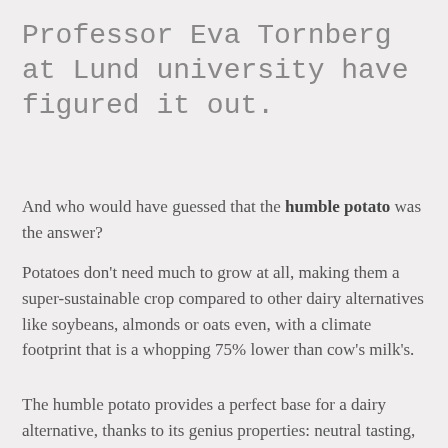Professor Eva Tornberg at Lund university have figured it out.
And who would have guessed that the humble potato was the answer?
Potatoes don't need much to grow at all, making them a super-sustainable crop compared to other dairy alternatives like soybeans, almonds or oats even, with a climate footprint that is a whopping 75% lower than cow's milk's.
The humble potato provides a perfect base for a dairy alternative, thanks to its genius properties: neutral tasting, highly nutritious, plus it's naturally free from